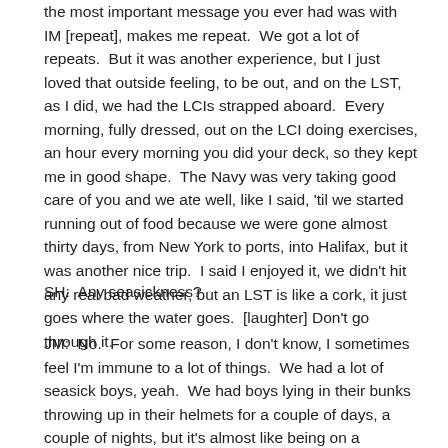the most important message you ever had was with IM [repeat], makes me repeat.  We got a lot of repeats.  But it was another experience, but I just loved that outside feeling, to be out, and on the LST, as I did, we had the LCIs strapped aboard.  Every morning, fully dressed, out on the LCI doing exercises, an hour every morning you did your deck, so they kept me in good shape.  The Navy was very taking good care of you and we ate well, like I said, 'til we started running out of food because we were gone almost thirty days, from New York to ports, into Halifax, but it was another nice trip.  I said I enjoyed it, we didn't hit any real bad weather, but an LST is like a cork, it just goes where the water goes.  [laughter] Don't go through it.
SH:  Any seasickness?
JM:  No.  For some reason, I don't know, I sometimes feel I'm immune to a lot of things.  We had a lot of seasick boys, yeah.  We had boys lying in their bunks throwing up in their helmets for a couple of days, a couple of nights, but it's almost like being on a sailboat.  If you ever went sailing and you want to get seasick, go on a big sailboat;